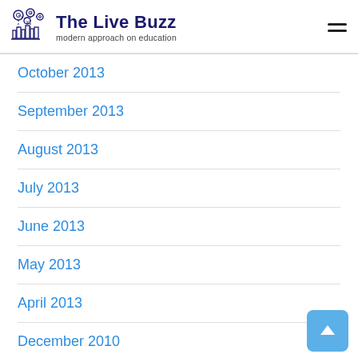The Live Buzz — modern approach on education
October 2013
September 2013
August 2013
July 2013
June 2013
May 2013
April 2013
December 2010